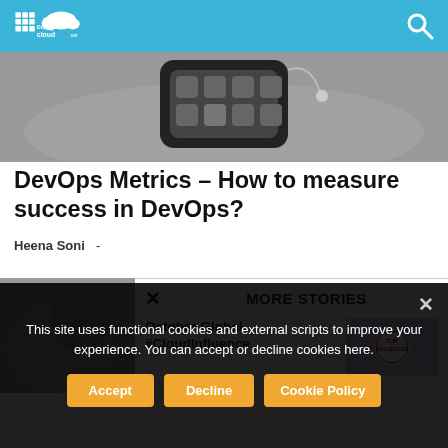comparecloud.net
[Figure (photo): Black and white photo of a hand holding a smartphone showing app icons]
DevOps Metrics – How to measure success in DevOps?
Heena Soni -
[Figure (photo): Blurred black and white photo, partial view of subject]
MORE STORIES
October Global #CloudInfluence
[Figure (photo): Thumbnail image for October Global CloudInfluence story with badge]
This site uses functional cookies and external scripts to improve your experience. You can accept or decline cookies here.